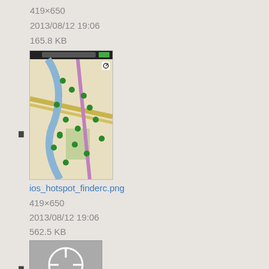419×650
2013/08/12 19:06
165.8 KB
[Figure (screenshot): Thumbnail of iOS hotspot finder map showing green markers on a street map]
ios_hotspot_finderc.png
419×650
2013/08/12 19:06
562.5 KB
[Figure (screenshot): Thumbnail of iOS location icon: circular crosshair white on gray background]
ios_location_icon.png
51×39
2013/08/23 17:13
1.7 KB
[Figure (screenshot): Thumbnail of iOS settings screen with dark header and white form rows]